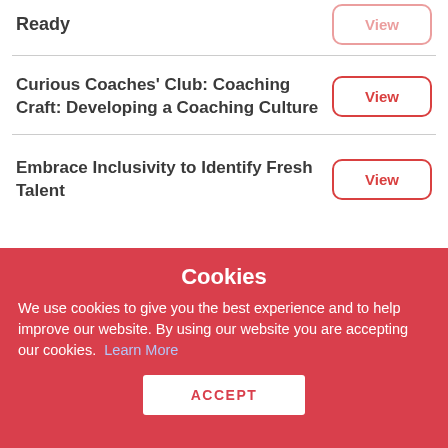Ready
Curious Coaches' Club: Coaching Craft: Developing a Coaching Culture
Embrace Inclusivity to Identify Fresh Talent
Cookies
We use cookies to give you the best experience and to help improve our website. By using our website you are accepting our cookies. Learn More
ACCEPT